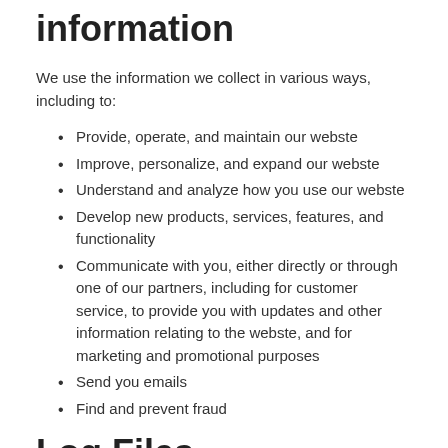information
We use the information we collect in various ways, including to:
Provide, operate, and maintain our webste
Improve, personalize, and expand our webste
Understand and analyze how you use our webste
Develop new products, services, features, and functionality
Communicate with you, either directly or through one of our partners, including for customer service, to provide you with updates and other information relating to the webste, and for marketing and promotional purposes
Send you emails
Find and prevent fraud
Log Files